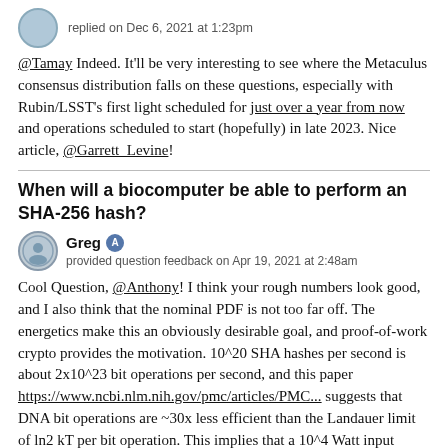replied on Dec 6, 2021 at 1:23pm
@Tamay Indeed. It'll be very interesting to see where the Metaculus consensus distribution falls on these questions, especially with Rubin/LSST's first light scheduled for just over a year from now and operations scheduled to start (hopefully) in late 2023. Nice article, @Garrett_Levine!
When will a biocomputer be able to perform an SHA-256 hash?
Greg  provided question feedback on Apr 19, 2021 at 2:48am
Cool Question, @Anthony! I think your rough numbers look good, and I also think that the nominal PDF is not too far off. The energetics make this an obviously desirable goal, and proof-of-work crypto provides the motivation. 10^20 SHA hashes per second is about 2x10^23 bit operations per second, and this paper https://www.ncbi.nlm.nih.gov/pmc/articles/PMC... suggests that DNA bit operations are ~30x less efficient than the Landauer limit of ln2 kT per bit operation. This implies that a 10^4 Watt input could run the vat of chemicals which would